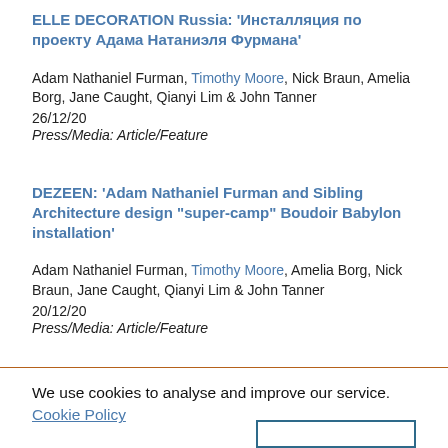ELLE DECORATION Russia: 'Инсталляция по проекту Адама Натаниэля Фурмана'
Adam Nathaniel Furman, Timothy Moore, Nick Braun, Amelia Borg, Jane Caught, Qianyi Lim & John Tanner
26/12/20
Press/Media: Article/Feature
DEZEEN: 'Adam Nathaniel Furman and Sibling Architecture design "super-camp" Boudoir Babylon installation'
Adam Nathaniel Furman, Timothy Moore, Amelia Borg, Nick Braun, Jane Caught, Qianyi Lim & John Tanner
20/12/20
Press/Media: Article/Feature
We use cookies to analyse and improve our service.  Cookie Policy